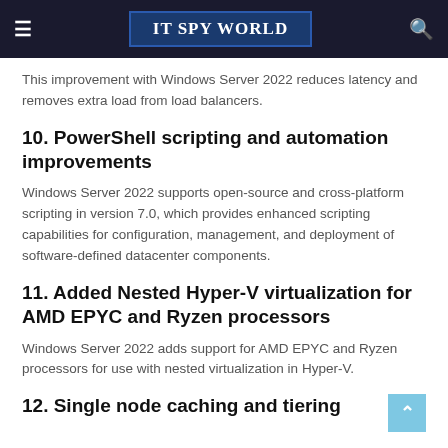IT SPY WORLD
This improvement with Windows Server 2022 reduces latency and removes extra load from load balancers.
10. PowerShell scripting and automation improvements
Windows Server 2022 supports open-source and cross-platform scripting in version 7.0, which provides enhanced scripting capabilities for configuration, management, and deployment of software-defined datacenter components.
11. Added Nested Hyper-V virtualization for AMD EPYC and Ryzen processors
Windows Server 2022 adds support for AMD EPYC and Ryzen processors for use with nested virtualization in Hyper-V.
12. Single node caching and tiering
This is a new feature for single-node servers in Windows Server